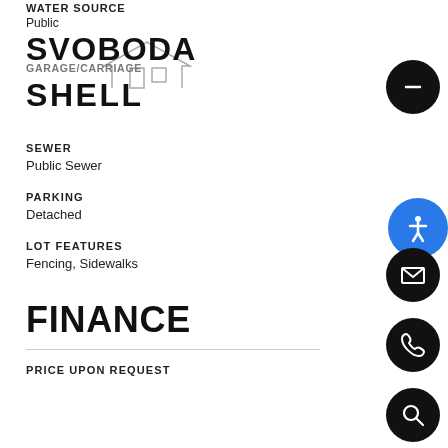WATER SOURCE
Public
[Figure (illustration): House outline / roof icon sketch]
GARAGE/CARRIAGE
SVOBODA
SHELL
SEWER
Public Sewer
PARKING
Detached
LOT FEATURES
Fencing, Sidewalks
FINANCE
PRICE UPON REQUEST